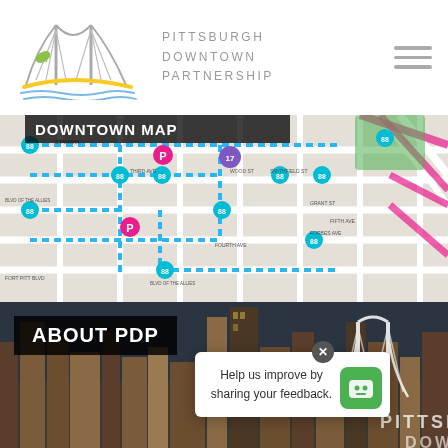[Figure (logo): Pittsburgh Downtown Partnership logo with bridge and river illustration]
PITTSBURGH DOWNTOWN PARTNERSHIP
[Figure (map): Downtown Pittsburgh street map with bike share stations, parking markers, and dotted route overlays]
DOWNTOWN MAP
[Figure (photo): Pittsburgh skyline cityscape photo with ABOUT PDP overlay label and feedback popup]
ABOUT PDP
Help us improve by sharing your feedback.